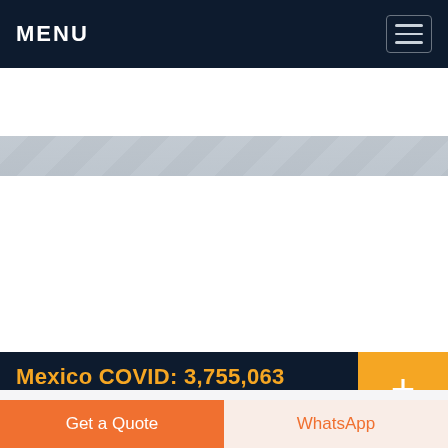MENU
[Figure (photo): Aerial or architectural photo showing rooftop/building with snow or light-toned surface. Live Chat bubble overlay in teal.]
Mexico COVID: 3,755,063 Cases ...
· Mexico Coronavirus update with statistics and graphs: total and new cases, deaths per day, mortality and recovery rates, current active cases, recoveries, trends and timeline.
[Figure (photo): Partial photo of buildings and industrial infrastructure with red pipes/chimneys visible.]
Get a Quote
WhatsApp